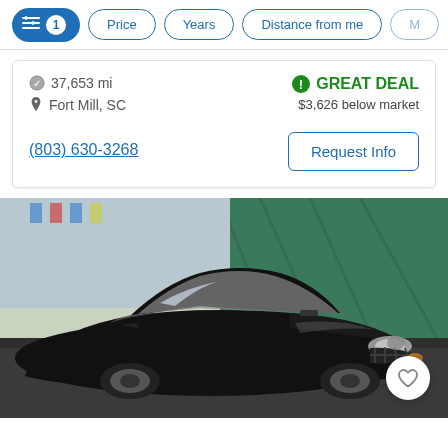Filter controls: [active filter icon 1], Price, Years, Distance from me, M...
37,653 mi
GREAT DEAL
Fort Mill, SC
$3,626 below market
(803) 630-3268
Request Info
[Figure (photo): Black Mazda 6 sedan photographed at an outdoor dealership lot with a green tarp/fence in the background. The car is dark/black in color, viewed from a front three-quarter angle.]